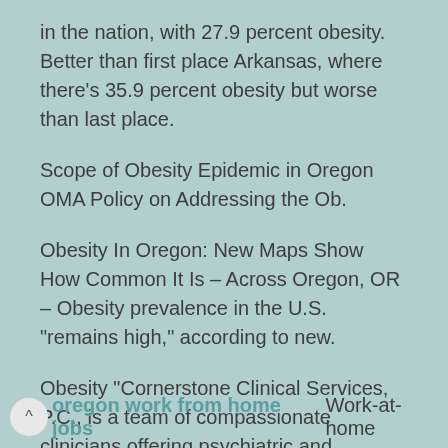in the nation, with 27.9 percent obesity. Better than first place Arkansas, where there's 35.9 percent obesity but worse than last place.
Scope of Obesity Epidemic in Oregon OMA Policy on Addressing the Ob.
Obesity In Oregon: New Maps Show How Common It Is – Across Oregon, OR – Obesity prevalence in the U.S. "remains high," according to new.
Obesity "Cornerstone Clinical Services, P.C., is a team of compassionate clinicians offering psychiatric and psychological care. We offer services from two sites near Portland, OR with offices in.
oregon work from home jobs Work-at-home